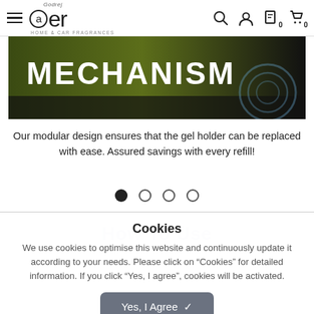Godrej aer HOME & CAR FRAGRANCES — navigation bar with hamburger menu, search, account, wishlist, cart icons
[Figure (photo): Hero banner image with dark olive/green background showing the word MECHANISM in large bold white capital letters, with decorative circular ring graphic on the right side]
Our modular design ensures that the gel holder can be replaced with ease. Assured savings with every refill!
[Figure (infographic): Carousel indicator dots: one filled black dot followed by three empty/outline dots]
Cookies
How To Use
We use cookies to optimise this website and continuously update it according to your needs. Please click on "Cookies" for detailed information. If you click "Yes, I agree", cookies will be activated.
Yes, I Agree ✓